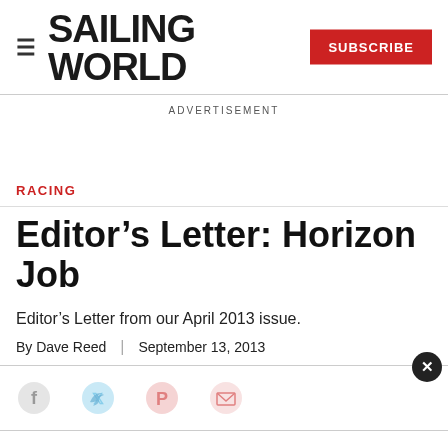SAILING WORLD
ADVERTISEMENT
RACING
Editor’s Letter: Horizon Job
Editor’s Letter from our April 2013 issue.
By Dave Reed | September 13, 2013